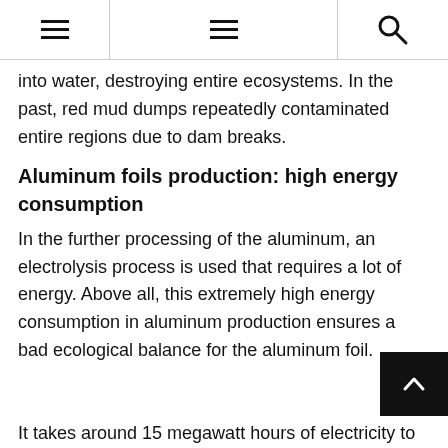≡ ≡ 🔍
into water, destroying entire ecosystems. In the past, red mud dumps repeatedly contaminated entire regions due to dam breaks.
Aluminum foils production: high energy consumption
In the further processing of the aluminum, an electrolysis process is used that requires a lot of energy. Above all, this extremely high energy consumption in aluminum production ensures a bad ecological balance for the aluminum foil.
It takes around 15 megawatt hours of electricity to